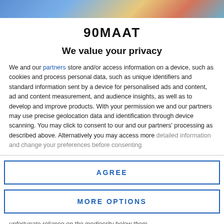[Figure (photo): Cropped photo strip showing people in colorful clothing at the top of the page]
90MAAT
We value your privacy
We and our partners store and/or access information on a device, such as cookies and process personal data, such as unique identifiers and standard information sent by a device for personalised ads and content, ad and content measurement, and audience insights, as well as to develop and improve products. With your permission we and our partners may use precise geolocation data and identification through device scanning. You may click to consent to our and our partners' processing as described above. Alternatively you may access more detailed information and change your preferences before consenting
AGREE
MORE OPTIONS
unfortunate reliance on the mediocrity below them.